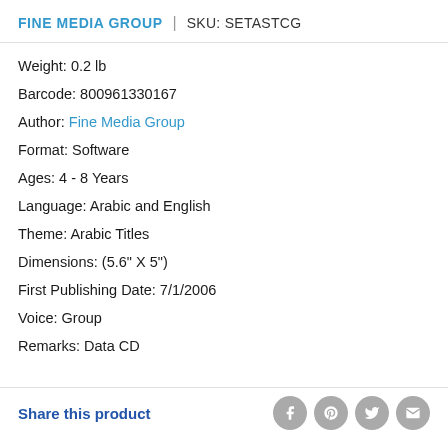FINE MEDIA GROUP | SKU: SETASTCG
Weight: 0.2 lb
Barcode: 800961330167
Author: Fine Media Group
Format: Software
Ages: 4 - 8 Years
Language: Arabic and English
Theme: Arabic Titles
Dimensions: (5.6" X 5")
First Publishing Date: 7/1/2006
Voice: Group
Remarks: Data CD
Share this product